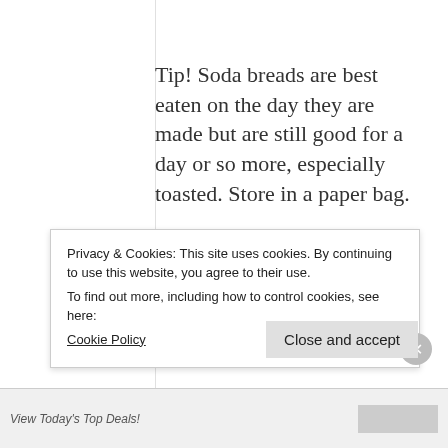Tip! Soda breads are best eaten on the day they are made but are still good for a day or so more, especially toasted. Store in a paper bag.
Recipe slightly adapted from Ballymaloe's White Soda Bread as well as changed to
Privacy & Cookies: This site uses cookies. By continuing to use this website, you agree to their use. To find out more, including how to control cookies, see here: Cookie Policy
Close and accept
View Today's Top Deals!